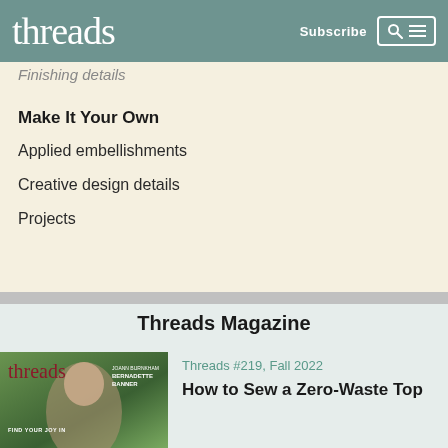threads — Subscribe
Finishing details
Make It Your Own
Applied embellishments
Creative design details
Projects
Threads Magazine
[Figure (photo): Cover of Threads magazine issue #219 Fall 2022, showing a woman with dark hair, with the Threads logo in red serif font and text reading FIND YOUR JOY IN and BERNADETTE BANNER]
Threads #219, Fall 2022
How to Sew a Zero-Waste Top